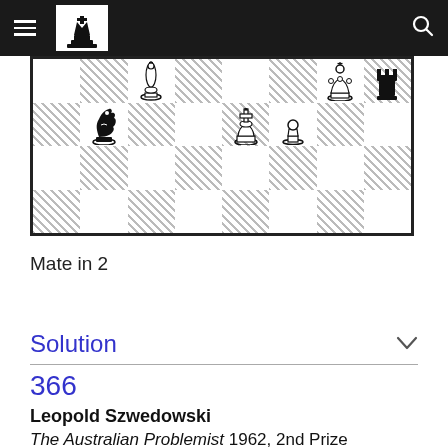Chess problem page header with logo and search
[Figure (other): Partial chess board showing pieces: white bishop on c8, white queen on g8, black rook on h8, black knight on b7, white king on e7, white pawn on f7 (partial view of the problem position)]
Mate in 2
Solution
366
Leopold Szwedowski
The Australian Problemist 1962, 2nd Prize